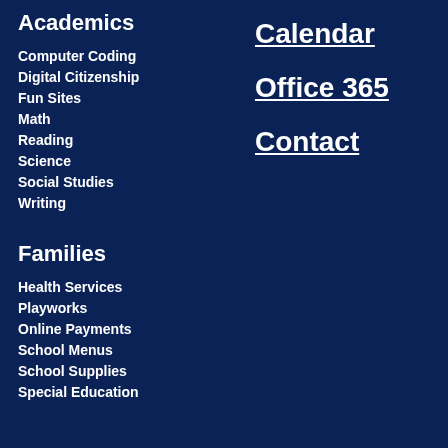Academics
Computer Coding
Digital Citizenship
Fun Sites
Math
Reading
Science
Social Studies
Writing
Calendar
Office 365
Contact
Families
Health Services
Playworks
Online Payments
School Menus
School Supplies
Special Education